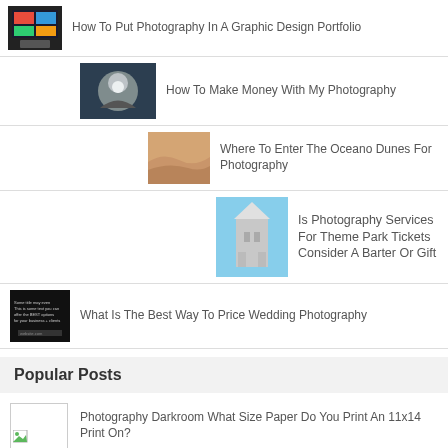How To Put Photography In A Graphic Design Portfolio
How To Make Money With My Photography
Where To Enter The Oceano Dunes For Photography
Is Photography Services For Theme Park Tickets Consider A Barter Or Gift
What Is The Best Way To Price Wedding Photography
Popular Posts
Photography Darkroom What Size Paper Do You Print An 11x14 Print On?